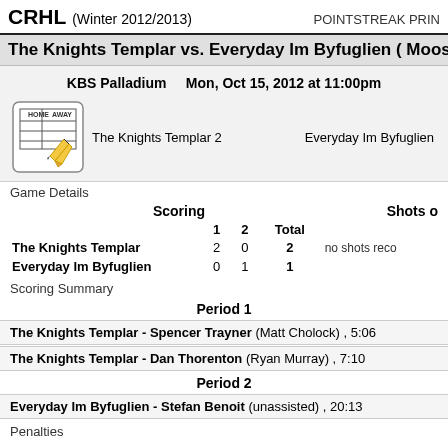CRHL (Winter 2012/2013)    POINTSTEAK PRIN
The Knights Templar vs. Everyday Im Byfuglien ( Mooseh
KBS Palladium    Mon, Oct 15, 2012 at 11:00pm
The Knights Templar 2    Everyday Im Byfuglien
Game Details
|  | 1 | 2 | Total |  |
| --- | --- | --- | --- | --- |
| The Knights Templar | 2 | 0 | 2 | no shots reco |
| Everyday Im Byfuglien | 0 | 1 | 1 |  |
Scoring Summary
Period 1
The Knights Templar - Spencer Trayner (Matt Cholock) , 5:06
The Knights Templar - Dan Thorenton (Ryan Murray) , 7:10
Period 2
Everyday Im Byfuglien - Stefan Benoit (unassisted) , 20:13
Penalties